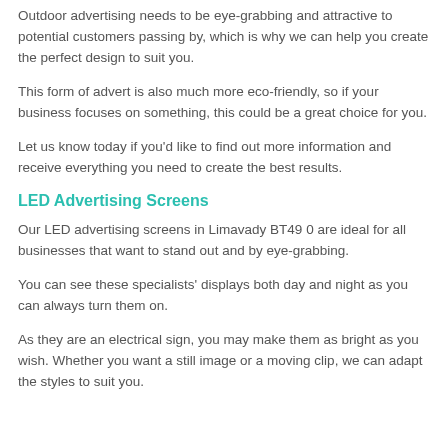Outdoor advertising needs to be eye-grabbing and attractive to potential customers passing by, which is why we can help you create the perfect design to suit you.
This form of advert is also much more eco-friendly, so if your business focuses on something, this could be a great choice for you.
Let us know today if you'd like to find out more information and receive everything you need to create the best results.
LED Advertising Screens
Our LED advertising screens in Limavady BT49 0 are ideal for all businesses that want to stand out and by eye-grabbing.
You can see these specialists' displays both day and night as you can always turn them on.
As they are an electrical sign, you may make them as bright as you wish. Whether you want a still image or a moving clip, we can adapt the styles to suit you.